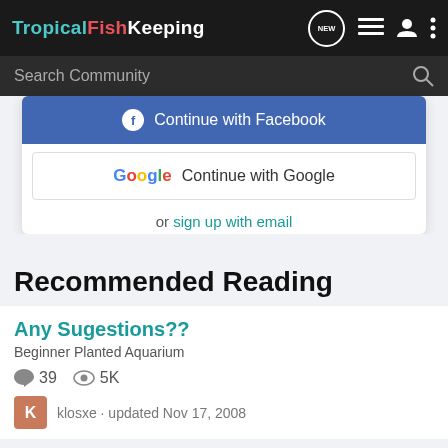TropicalFishKeeping
Search Community
Continue with Facebook
Continue with Google
or sign up with email
Recommended Reading
Any Sugestions??
Beginner Planted Aquarium
39   5K
klosxe · updated Nov 17, 2008